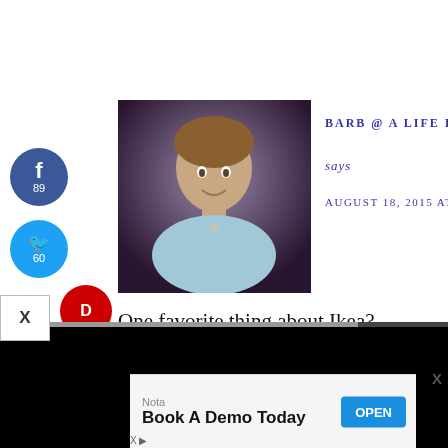[Figure (photo): Headshot of a smiling middle-aged woman with short hair wearing a light blue top, against a dark purple/brown background]
BARB @ A LIFE IN BALANCE
says
AUGUST 18, 2015 AT 6:41 AM
One favorite thing about Ikea? That's tough. I do love the restaurant. And clearance. 🙂
[Figure (screenshot): Embedded video player (black) with play button, progress bar showing 13:52, and video controls including mute, CC, chapters, settings, and fullscreen buttons]
Nota
Book A Demo Today
OPEN